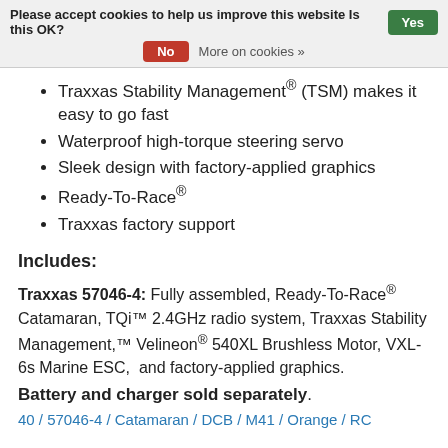Please accept cookies to help us improve this website Is this OK? Yes No More on cookies »
Traxxas Stability Management® (TSM) makes it easy to go fast
Waterproof high-torque steering servo
Sleek design with factory-applied graphics
Ready-To-Race®
Traxxas factory support
Includes:
Traxxas 57046-4: Fully assembled, Ready-To-Race® Catamaran, TQi™ 2.4GHz radio system, Traxxas Stability Management,™ Velineon® 540XL Brushless Motor, VXL-6s Marine ESC,  and factory-applied graphics.
Battery and charger sold separately.
40 / 57046-4 / Catamaran / DCB / M41 / Orange / RC